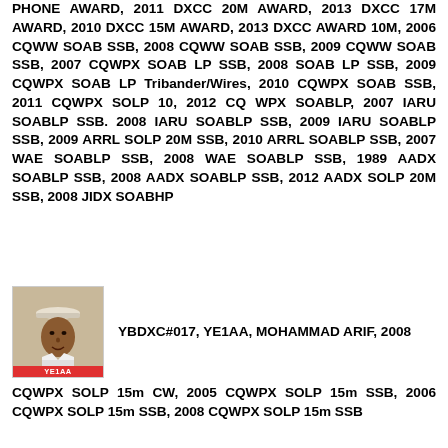PHONE AWARD, 2011 DXCC 20M AWARD, 2013 DXCC 17M AWARD, 2010 DXCC 15M AWARD, 2013 DXCC AWARD 10M, 2006 CQWW SOAB SSB, 2008 CQWW SOAB SSB, 2009 CQWW SOAB SSB, 2007 CQWPX SOAB LP SSB, 2008 SOAB LP SSB, 2009 CQWPX SOAB LP Tribander/Wires, 2010 CQWPX SOAB SSB, 2011 CQWPX SOLP 10, 2012 CQ WPX SOABLP, 2007 IARU SOABLP SSB. 2008 IARU SOABLP SSB, 2009 IARU SOABLP SSB, 2009 ARRL SOLP 20M SSB, 2010 ARRL SOABLP SSB, 2007 WAE SOABLP SSB, 2008 WAE SOABLP SSB, 1989 AADX SOABLP SSB, 2008 AADX SOABLP SSB, 2012 AADX SOLP 20M SSB, 2008 JIDX SOABHP
[Figure (photo): Photo of Mohammad Arif, YE1AA, with red label at bottom showing YE1AA]
YBDXC#017, YE1AA, MOHAMMAD ARIF, 2008
CQWPX SOLP 15m CW, 2005 CQWPX SOLP 15m SSB, 2006 CQWPX SOLP 15m SSB, 2008 CQWPX SOLP 15m SSB